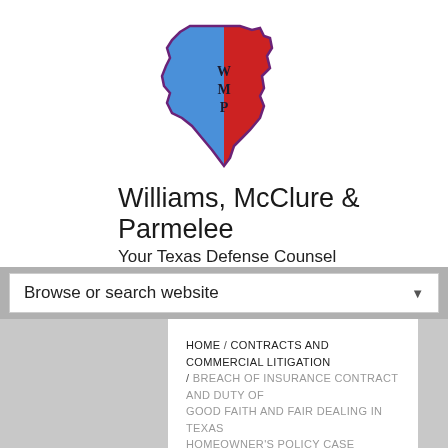[Figure (logo): Texas state shape logo with blue left half and red right half, letters W, M, P in center, dark outline]
Williams, McClure & Parmelee
Your Texas Defense Counsel
Browse or search website
HOME / CONTRACTS AND COMMERCIAL LITIGATION / BREACH OF INSURANCE CONTRACT AND DUTY OF GOOD FAITH AND FAIR DEALING IN TEXAS HOMEOWNER'S POLICY CASE
Breach of Insurance Contract and Duty of